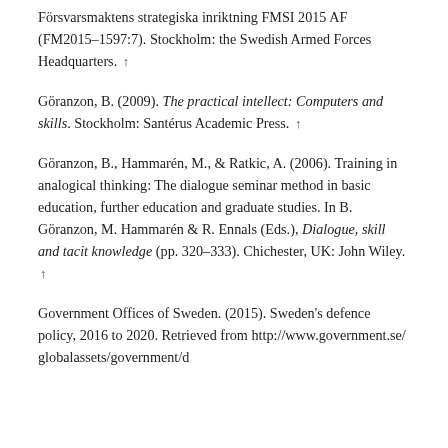Försvarsmaktens strategiska inriktning FMSI 2015 AF (FM2015–1597:7). Stockholm: the Swedish Armed Forces Headquarters. ↑
Göranzon, B. (2009). The practical intellect: Computers and skills. Stockholm: Santérus Academic Press. ↑
Göranzon, B., Hammarén, M., & Ratkic, A. (2006). Training in analogical thinking: The dialogue seminar method in basic education, further education and graduate studies. In B. Göranzon, M. Hammarén & R. Ennals (Eds.), Dialogue, skill and tacit knowledge (pp. 320–333). Chichester, UK: John Wiley. ↑
Government Offices of Sweden. (2015). Sweden's defence policy, 2016 to 2020. Retrieved from http://www.government.se/globalassets/government/d...